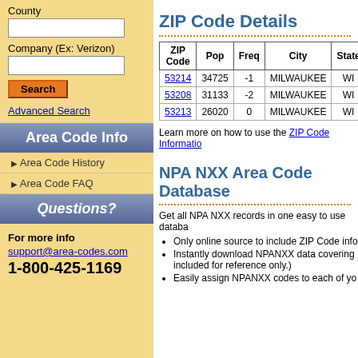County
Company (Ex: Verizon)
Search
Advanced Search
Area Code Info
Area Code History
Area Code FAQ
Questions?
For more info support@area-codes.com 1-800-425-1169
ZIP Code Details
| ZIP Code | Pop | Freq | City | State |
| --- | --- | --- | --- | --- |
| 53214 | 34725 | -1 | MILWAUKEE | WI |
| 53208 | 31133 | -2 | MILWAUKEE | WI |
| 53213 | 26020 | 0 | MILWAUKEE | WI |
Learn more on how to use the ZIP Code Information
NPA NXX Area Code Database
Get all NPA NXX records in one easy to use databa
Only online source to include ZIP Code info
Instantly download NPANXX data covering included for reference only.)
Easily assign NPANXX codes to each of yo